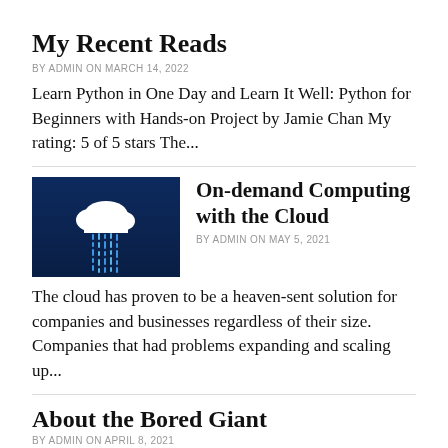My Recent Reads
BY ADMIN ON MARCH 14, 2022
Learn Python in One Day and Learn It Well: Python for Beginners with Hands-on Project by Jamie Chan My rating: 5 of 5 stars The...
[Figure (photo): Dark blue background with a white cloud icon and rain of blue digital data streams below it]
On-demand Computing with the Cloud
BY ADMIN ON MAY 5, 2021
The cloud has proven to be a heaven-sent solution for companies and businesses regardless of their size. Companies that had problems expanding and scaling up...
About the Bored Giant
BY ADMIN ON APRIL 8, 2021
“Do you see over yonder, friend Sancho, thirty or forty